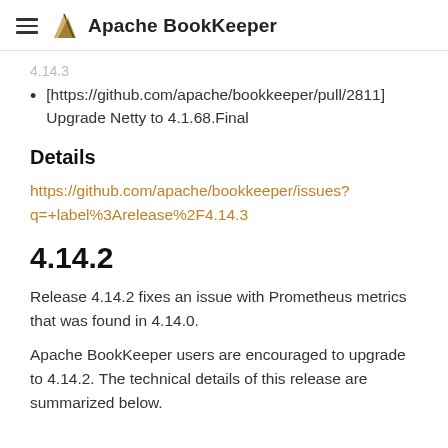Apache BookKeeper
...
[https://github.com/apache/bookkeeper/pull/2811] Upgrade Netty to 4.1.68.Final
Details
https://github.com/apache/bookkeeper/issues?q=+label%3Arelease%2F4.14.3
4.14.2
Release 4.14.2 fixes an issue with Prometheus metrics that was found in 4.14.0.
Apache BookKeeper users are encouraged to upgrade to 4.14.2. The technical details of this release are summarized below.